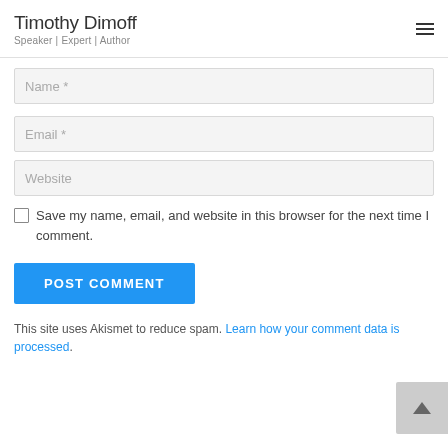Timothy Dimoff
Speaker | Expert | Author
Name *
Email *
Website
Save my name, email, and website in this browser for the next time I comment.
POST COMMENT
This site uses Akismet to reduce spam. Learn how your comment data is processed.